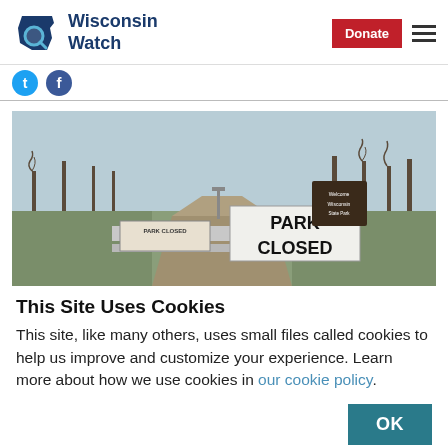Wisconsin Watch
[Figure (photo): A park entrance road with a large sign reading 'PARK CLOSED', a white barrier fence, trees in the background, and a Wisconsin State Parks welcome sign visible to the right. Overcast wintry sky.]
This Site Uses Cookies
This site, like many others, uses small files called cookies to help us improve and customize your experience. Learn more about how we use cookies in our cookie policy.